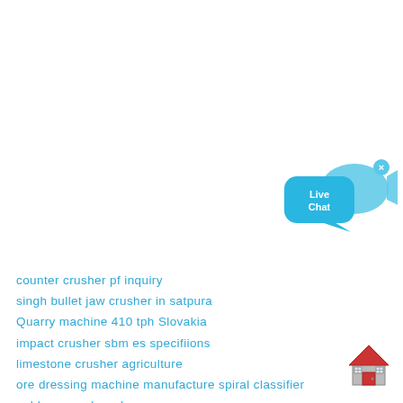[Figure (other): Live Chat widget button with blue speech bubble and fish icon, with a close (x) button]
counter crusher pf inquiry
singh bullet jaw crusher in satpura
Quarry machine 410 tph Slovakia
impact crusher sbm es specifiions
limestone crusher agriculture
ore dressing machine manufacture spiral classifier
gold ore crusher plans
replika dampak crusher
210 tph Vertical shaft impact Uzbekistan
[Figure (illustration): House/home icon illustration in red and grey]